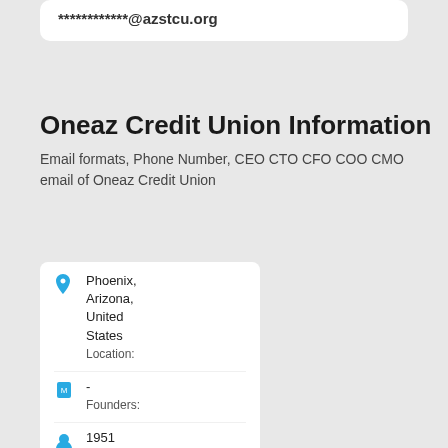************@azstcu.org
Oneaz Credit Union Information
Email formats, Phone Number, CEO CTO CFO COO CMO email of Oneaz Credit Union
| Location: | Phoenix, Arizona, United States |
| Founders: | - |
| Founded: | 1951 |
| Industry: | Banking |